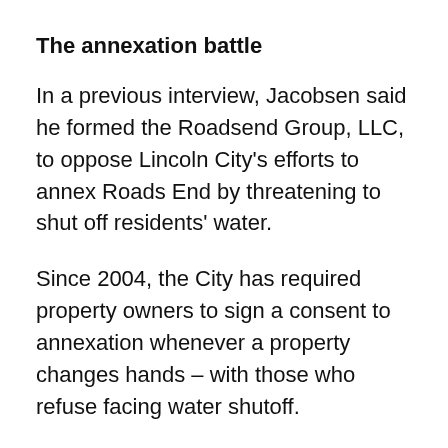The annexation battle
In a previous interview, Jacobsen said he formed the Roadsend Group, LLC, to oppose Lincoln City's efforts to annex Roads End by threatening to shut off residents' water.
Since 2004, the City has required property owners to sign a consent to annexation whenever a property changes hands – with those who refuse facing water shutoff.
The City adopted the required-consent policy after its 25-year contract to provide water to Roads End expired in 2003.
In order to annex the area, state law requires the City obtain consents from a triple majority – meaning a majority